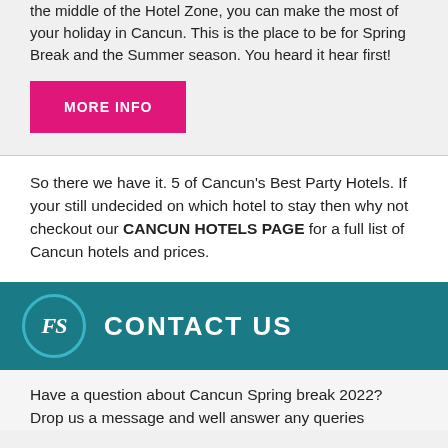the middle of the Hotel Zone, you can make the most of your holiday in Cancun. This is the place to be for Spring Break and the Summer season. You heard it hear first!
MORE INFO
So there we have it. 5 of Cancun's Best Party Hotels. If your still undecided on which hotel to stay then why not checkout our CANCUN HOTELS PAGE for a full list of Cancun hotels and prices.
[Figure (logo): FS logo circle with teal border, followed by CONTACT US heading on dark teal background]
Have a question about Cancun Spring break 2022? Drop us a message and well answer any queries